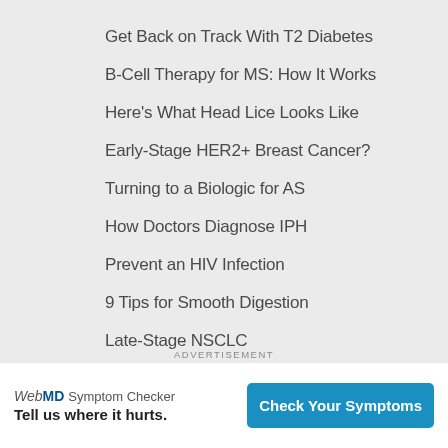Get Back on Track With T2 Diabetes
B-Cell Therapy for MS: How It Works
Here's What Head Lice Looks Like
Early-Stage HER2+ Breast Cancer?
Turning to a Biologic for AS
How Doctors Diagnose IPH
Prevent an HIV Infection
9 Tips for Smooth Digestion
Late-Stage NSCLC
Liposarcoma Types
What to Know About Probiotics
MS and Your Mental Health
5 Worst Workouts
ADVERTISEMENT
[Figure (infographic): WebMD Symptom Checker advertisement banner with text 'Tell us where it hurts.' and a 'Check Your Symptoms' button]